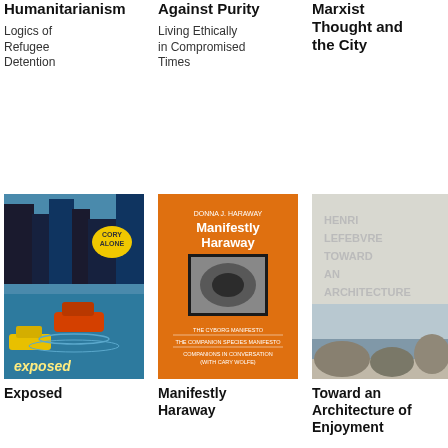Humanitarianism
Logics of Refugee Detention
Against Purity
Living Ethically in Compromised Times
Marxist Thought and the City
[Figure (photo): Book cover of 'Exposed' — illustrated cover showing flooded urban scene with submerged cars and blue tones, text 'exposed' at bottom]
[Figure (photo): Book cover of 'Manifestly Haraway' — orange cover with author name Donna J. Haraway and list of contents]
[Figure (photo): Book cover of 'Toward an Architecture of Enjoyment' by Henri Lefebvre — light gray cover with photograph of rocky coastal scene]
Exposed
Environmental Politics and Pleasures in Posthuman Times
Manifestly Haraway
Toward an Architecture of Enjoyment
[Figure (photo): Partial book cover of 'Political Affect' — light blue cover with bold text visible at bottom]
[Figure (photo): Partial book cover of 'The Politics' — orange/gold cover with teal title text visible]